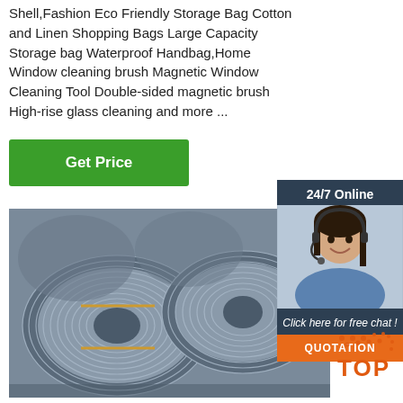Shell,Fashion Eco Friendly Storage Bag Cotton and Linen Shopping Bags Large Capacity Storage bag Waterproof Handbag,Home Window cleaning brush Magnetic Window Cleaning Tool Double-sided magnetic brush High-rise glass cleaning and more ...
Get Price
[Figure (photo): Large coils of steel wire rod stacked in a warehouse or industrial setting, silver/grey metallic wire wound in large circular spools.]
[Figure (photo): 24/7 Online customer service widget showing a woman with headset smiling, with text 'Click here for free chat!' and an orange QUOTATION button.]